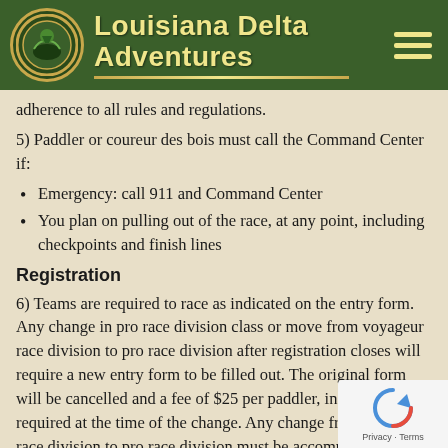Louisiana Delta Adventures
adherence to all rules and regulations.
5) Paddler or coureur des bois must call the Command Center if:
Emergency: call 911 and Command Center
You plan on pulling out of the race, at any point, including checkpoints and finish lines
Registration
6) Teams are required to race as indicated on the entry form. Any change in pro race division class or move from voyageur race division to pro race division after registration closes will require a new entry form to be filled out. The original form will be cancelled and a fee of $25 per paddler, in cash, will be required at the time of the change. Any change from voyageur race division to pro race division must be accompanied by the difference in fees in addition to the penalty. There will be no penalty assessed or refund given, for moving from pro race division to voyageur division.
Liability